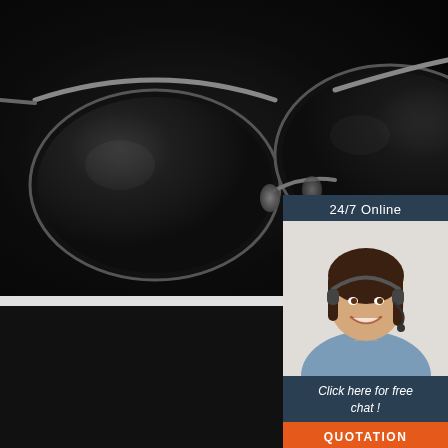[Figure (photo): Close-up dark product photo of black aviator sunglasses with metal frame on dark background]
DOUBLE BARREL DESIGN
Add a short description
Three different uses,
features
[Figure (photo): Customer service representative woman with headset smiling, for 24/7 Online chat panel]
24/7 Online
Click here for free chat !
QUOTATION
SPRING HINGE
The opening and closing degree can be adjusted freely
Tolerance of face type differences
[Figure (logo): TOP logo in orange with dotted arc above the text]